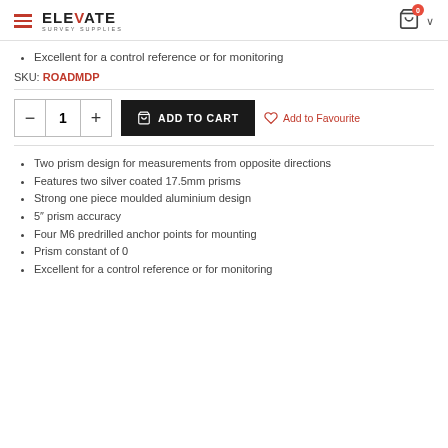ELEVATE SURVEY SUPPLIES — navigation header with cart
Excellent for a control reference or for monitoring
SKU: ROADMDP
Two prism design for measurements from opposite directions
Features two silver coated 17.5mm prisms
Strong one piece moulded aluminium design
5″ prism accuracy
Four M6 predrilled anchor points for mounting
Prism constant of 0
Excellent for a control reference or for monitoring